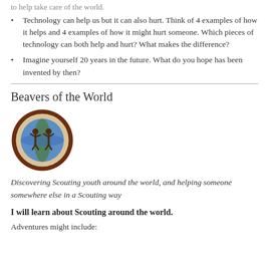Technology can help us but it can also hurt. Think of 4 examples of how it helps and 4 examples of how it might hurt someone. Which pieces of technology can both help and hurt? What makes the difference?
Imagine yourself 20 years in the future. What do you hope has been invented by then?
Beavers of the World
[Figure (illustration): Circular badge with dark brown border showing two children figures with arms raised on a globe/earth background, with light tan/beige inner ring]
Discovering Scouting youth around the world, and helping someone somewhere else in a Scouting way
I will learn about Scouting around the world.
Adventures might include: